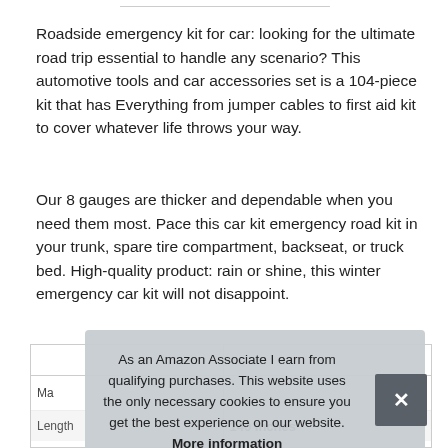Roadside emergency kit for car: looking for the ultimate road trip essential to handle any scenario? This automotive tools and car accessories set is a 104-piece kit that has Everything from jumper cables to first aid kit to cover whatever life throws your way.
Our 8 gauges are thicker and dependable when you need them most. Pace this car kit emergency road kit in your trunk, spare tire compartment, backseat, or truck bed. High-quality product: rain or shine, this winter emergency car kit will not disappoint.
|  |  |
| --- | --- |
| Ma |  |
| Length | 140 Inches |
As an Amazon Associate I earn from qualifying purchases. This website uses the only necessary cookies to ensure you get the best experience on our website. More information